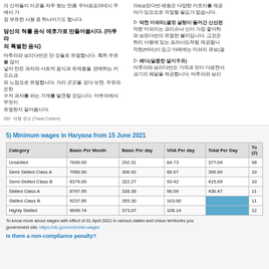의 신자들이 이곳을 자주 찾는 만큼 우타르프라데시 주에서 가장 부유한 사원 중 하나이기도 합니다.
라&브린다반 레원은 다양한 카조리를 제공야가 있으므로 걱정할 필요가 없습니다.
당신의 혀를 음식 애호가로 만들어봅시다. (마투라의 특별한 음식)
마투라와 브리다반은 단 것들로 유명합니다. 특히 우유를 많이 넣어 만든 과자와 사트빅 음식과 유제품을 판매하는 키오스크와 노점으로 유명합니다. 거리 곳곳을 걷다 보면, 우유와 은한 수저 과자를 파는 가게를 발견할 것입니다. 마두라에서 무엇이 유명한지 알아봅시다.
▷ 막천 미쉬리(결정 설탕이 들어간 신선편)
막헌 미쉬리는 크리슈나 신이 가장 좋아하와 브린다반의 유명한 별미입니다. 그것은 하리 사원에 있는 프라사드처럼 제공됩니막헌(버터)이 있고 아래에는 미쉬리 큐브(걸
▷ 패다(달콤한 닽지우유)
마루라와 브리다반은 가격과 맛이 다르면서 크기의 패달을 제공합니다. 마투라와 브리
200  여행 정보 (Travel Column)
5) Minimum wages in Haryana from 15 June 2021
| Category | Basic Per Month | Basic Per day | VDA Per day | Total Per Day | To (2) |
| --- | --- | --- | --- | --- | --- |
| Unskilled | 7600.00 | 292.31 | 84.73 | 377.04 | 98 |
| Semi Skilled Class A | 7980.00 | 306.92 | 88.97 | 395.89 | 10 |
| Semi-Skilled Class B | 8379.00 | 322.27 | 93.42 | 415.69 | 10 |
| Skilled Class A | 8797.95 | 338.38 | 98.09 | 436.47 | 11 |
| Skilled Class B | 9237.85 | 355.30 | 103.00 | [blocked] | 11 |
| Highly Skilled | 9699.74 | 373.07 | 108.14 | [blocked] | 12 |
To know more about wages with effect of 01 April 2021 in various states and Union territories you government site: https://clc.gov.in/clc/min-wages
Is there a non-compliance penalty?